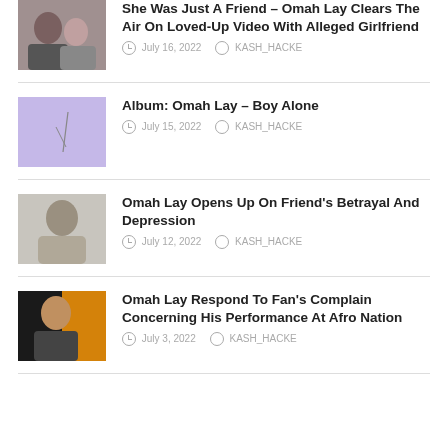She Was Just A Friend – Omah Lay Clears The Air On Loved-Up Video With Alleged Girlfriend | July 16, 2022 | KASH_HACKE
Album: Omah Lay – Boy Alone | July 15, 2022 | KASH_HACKE
Omah Lay Opens Up On Friend's Betrayal And Depression | July 12, 2022 | KASH_HACKE
Omah Lay Respond To Fan's Complain Concerning His Performance At Afro Nation | July 3, 2022 | KASH_HACKE